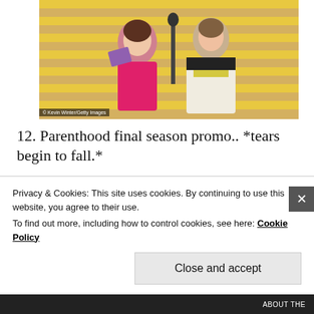[Figure (photo): Two women on stage at an awards ceremony, one in a hot pink strapless dress holding papers, one in a black and white dress with yellow sash, both at a microphone]
© Kevin Winter/Getty Images
12. Parenthood final season promo.. *tears begin to fall.*
[Figure (photo): Scene from Parenthood TV show, people gathered around a table]
Privacy & Cookies: This site uses cookies. By continuing to use this website, you agree to their use.
To find out more, including how to control cookies, see here: Cookie Policy
Close and accept
ABOUT THE